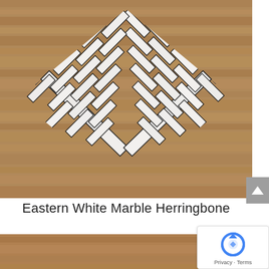[Figure (photo): Eastern White Marble Herringbone tile pattern displayed on a wooden surface. White marble rectangular tiles arranged in a herringbone/chevron pattern against a warm wood-plank background.]
Eastern White Marble Herringbone
[Figure (photo): Partial photo at bottom showing a wooden surface/floor, cropped.]